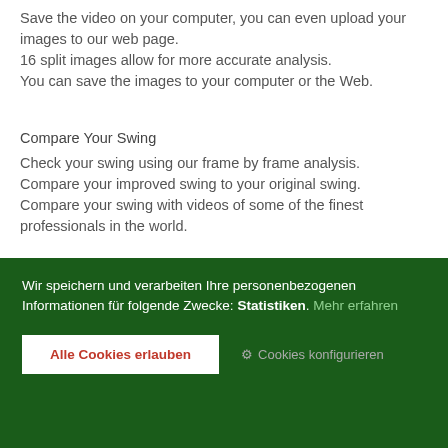Save the video on your computer, you can even upload your images to our web page.
16 split images allow for more accurate analysis.
You can save the images to your computer or the Web.
Compare Your Swing
Check your swing using our frame by frame analysis.
Compare your improved swing to your original swing.
Compare your swing with videos of some of the finest professionals in the world.
1 VS 1 Online Video Match.
Bravo golf simulator supports real-time online video golf...
Wir speichern und verarbeiten Ihre personenbezogenen Informationen für folgende Zwecke: Statistiken. Mehr erfahren
Alle Cookies erlauben
Cookies konfigurieren